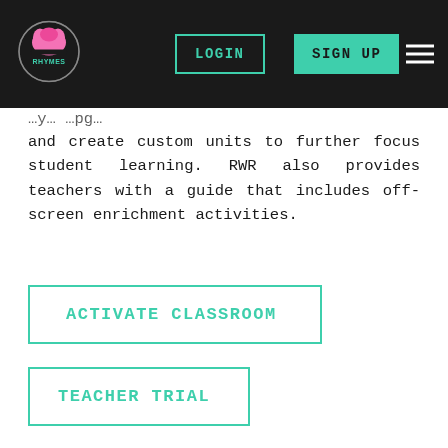RHYMES logo | LOGIN | SIGN UP | menu
and create custom units to further focus student learning. RWR also provides teachers with a guide that includes off-screen enrichment activities.
ACTIVATE CLASSROOM
TEACHER TRIAL